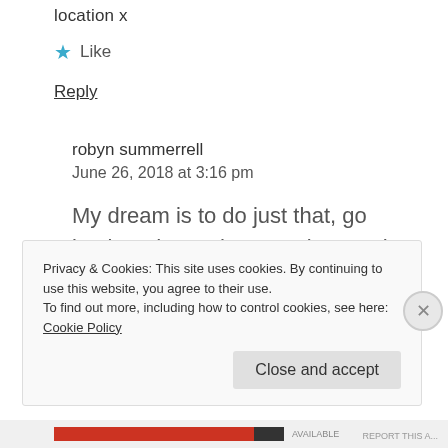location x
★ Like
Reply
robyn summerrell
June 26, 2018 at 3:16 pm
My dream is to do just that, go back and stay there again ...such a beautiful place so
Privacy & Cookies: This site uses cookies. By continuing to use this website, you agree to their use.
To find out more, including how to control cookies, see here: Cookie Policy
Close and accept